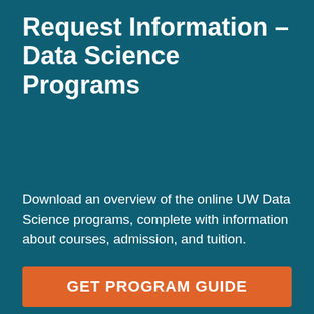Request Information – Data Science Programs
Download an overview of the online UW Data Science programs, complete with information about courses, admission, and tuition.
GET PROGRAM GUIDE